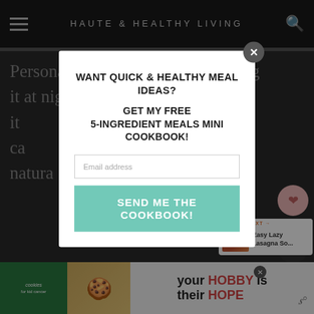HAUTE & HEALTHY LIVING
Personally, I tend to prefer drinking it at night since it ... ffect that ca... ll is natura... to end th...
[Figure (screenshot): Modal popup overlay with email signup for free 5-ingredient meals mini cookbook]
Can y...
Yes! Despite the numerous benefits... it's definitely possible to overdo it. Some of the
[Figure (infographic): Bottom advertisement banner: cookies for kid cancer / your HOBBY is their HOPE]
[Figure (screenshot): What's Next promo box: Easy Lazy Lasagna So...]
541